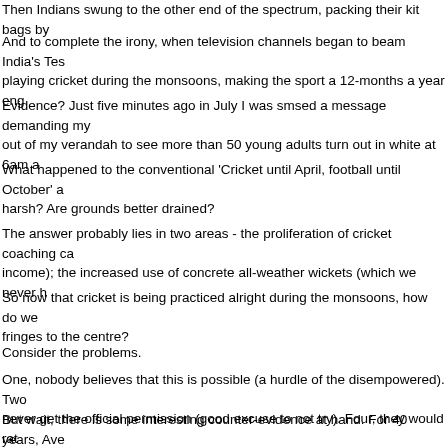Then Indians swung to the other end of the spectrum, packing their kit bags by
And to complete the irony, when television channels began to beam India's Tes playing cricket during the monsoons, making the sport a 12-months a year eng
Evidence? Just five minutes ago in July I was smsed a message demanding my out of my verandah to see more than 50 young adults turn out in white at 6am a
What happened to the conventional 'Cricket until April, football until October' a harsh? Are grounds better drained?
The answer probably lies in two areas - the proliferation of cricket coaching ca income); the increased use of concrete all-weather wickets (which we never h
So now that cricket is being practiced alright during the monsoons, how do we fringes to the centre?
Consider the problems.
One, nobody believes that this is possible (a hurdle of the disempowered). Two never get the official permission (good excuse to not try). Four, they would rat
But wait, there is some interesting counter-evidence at hand. For 40 years, Ave its ground inside Rabindra Sarobar. Then last January, something happened: th night; the ground was repaired professionally for the first time in decades. Wh